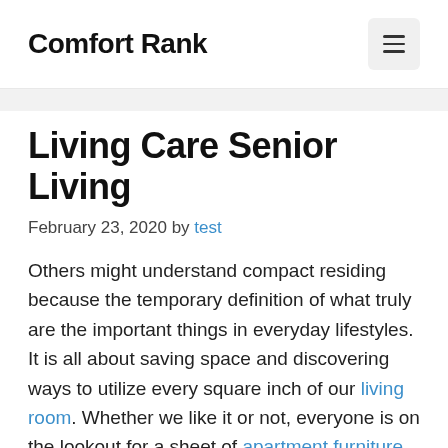Comfort Rank
Living Care Senior Living
February 23, 2020 by test
Others might understand compact residing because the temporary definition of what truly are the important things in everyday lifestyles. It is all about saving space and discovering ways to utilize every square inch of our living room. Whether we like it or not, everyone is on the lookout for a sheet of apartment furniture which will help them